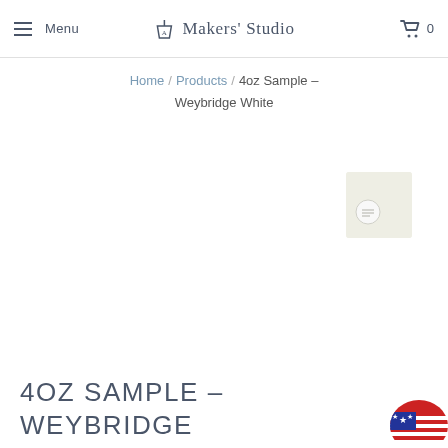Menu | Makers' Studio | 0
Home / Products / 4oz Sample - Weybridge White
[Figure (photo): Small product thumbnail of Weybridge White paint sample, shown in upper right of product image area. Light beige/white square swatch with a circular label.]
4OZ SAMPLE - WEYBRIDGE WHITE